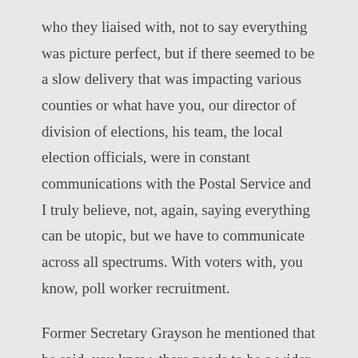who they liaised with, not to say everything was picture perfect, but if there seemed to be a slow delivery that was impacting various counties or what have you, our director of division of elections, his team, the local election officials, were in constant communications with the Postal Service and I truly believe, not, again, saying everything can be utopic, but we have to communicate across all spectrums. With voters with, you know, poll worker recruitment.
Former Secretary Grayson he mentioned that he said, you know, there needs to be a wider bench in terms of getting poll worker selections. It's going to take all hands on deck in terms of us moving